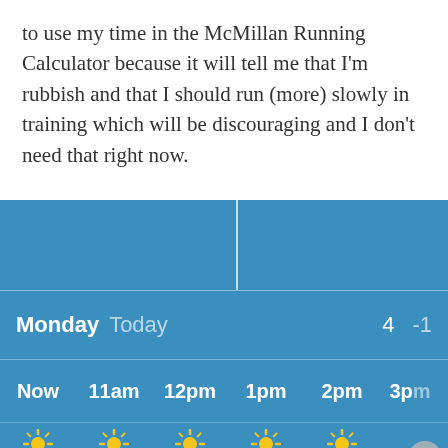to use my time in the McMillan Running Calculator because it will tell me that I'm rubbish and that I should run (more) slowly in training which will be discouraging and I don't need that right now.
[Figure (screenshot): Weather app widget showing Monday Today with temperature 4 / -1, hourly forecast from Now, 11am, 12pm, 1pm, 2pm, 3pm with sunny icons on blue background]
Advertisements
Professionally designed sites in less than a week